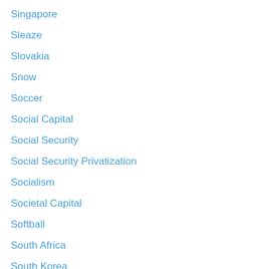Singapore
Sleaze
Slovakia
Snow
Soccer
Social Capital
Social Security
Social Security Privatization
Socialism
Societal Capital
Softball
South Africa
South Korea
Sovereignty
Spain
Spending
Spending Cap
States
Statism
stimulus